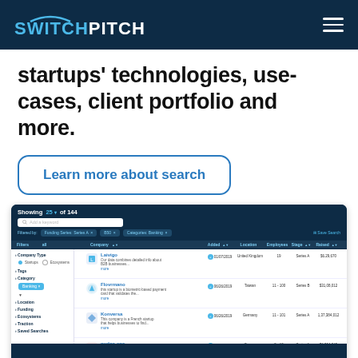SWITCHPITCH
startups' technologies, use-cases, client portfolio and more.
Learn more about search
[Figure (screenshot): SwitchPitch platform screenshot showing search results. Showing 25 of 144 results. Filters: Funding Series: Series A, B50, Categories: Banking. Results table with columns: Filters, Company, Added, Location, Employees, Stage, Raised. Sidebar filters: Company Type (Startups/Ecosystems), Tags, Category (Banking), Location, Funding, Ecosystems, Traction, Saved Searches. Companies shown: Laivigo, Flovrmano, Konversa, Nudge.one.]